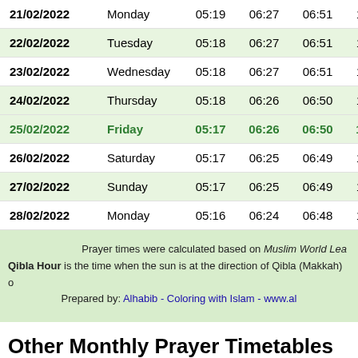| Date | Day | Col3 | Col4 | Col5 | Col6 | Col7 |
| --- | --- | --- | --- | --- | --- | --- |
| 21/02/2022 | Monday | 05:19 | 06:27 | 06:51 | 12:27 | 1 |
| 22/02/2022 | Tuesday | 05:18 | 06:27 | 06:51 | 12:27 | 1 |
| 23/02/2022 | Wednesday | 05:18 | 06:27 | 06:51 | 12:27 | 1 |
| 24/02/2022 | Thursday | 05:18 | 06:26 | 06:50 | 12:27 | 1 |
| 25/02/2022 | Friday | 05:17 | 06:26 | 06:50 | 12:27 | 1 |
| 26/02/2022 | Saturday | 05:17 | 06:25 | 06:49 | 12:26 | 1 |
| 27/02/2022 | Sunday | 05:17 | 06:25 | 06:49 | 12:26 | 1 |
| 28/02/2022 | Monday | 05:16 | 06:24 | 06:48 | 12:26 | 1 |
Prayer times were calculated based on Muslim World Lea... Qibla Hour is the time when the sun is at the direction of Qibla (Makkah) o... Prepared by: Alhabib - Coloring with Islam - www.al...
Other Monthly Prayer Timetables for Wa - Year 2022 AD
January 2022 | February 2022 | March 2022 | April 2022 | May 2022 | June 2022 | July 2022 | August 2022 | September 2022 | October 2022 | November 2022 | December 2022